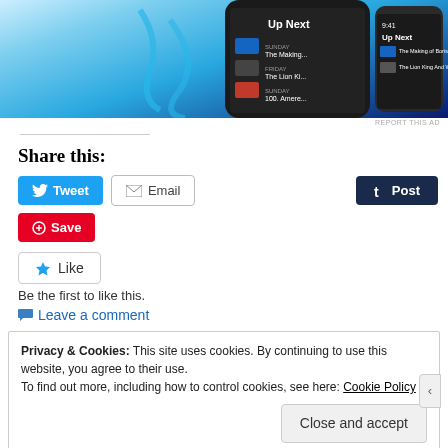[Figure (screenshot): Mobile app screenshot showing 'Up Next' queue in a dark-themed streaming app, with phone mockups on blue/cyan background]
REPORT THIS AD
Share this:
Tweet
Email
Post
Save
Like
Be the first to like this.
Leave a comment
Privacy & Cookies: This site uses cookies. By continuing to use this website, you agree to their use. To find out more, including how to control cookies, see here: Cookie Policy
Close and accept